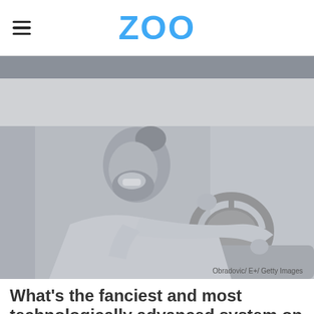ZOO
[Figure (photo): A smiling bearded man with a bun hairstyle driving a car, holding the steering wheel, in black and white / desaturated tone. Credit: Obradovic/ E+/ Getty Images]
Obradovic/ E+/ Getty Images
What's the fanciest and most technologically advanced system on your